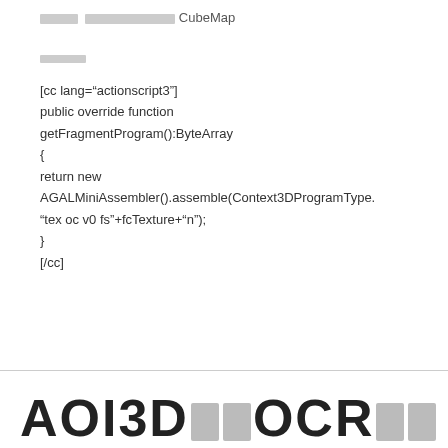█████ ████████████ CubeMap
█████
[cc lang="actionscript3"]
public override function
getFragmentProgram():ByteArray
{
return new
AGALMiniAssembler().assemble(Context3DProgramType.
"tex oc v0 fs"+fcTexture+"n");
}
[/cc]
AOI3D██OCR██